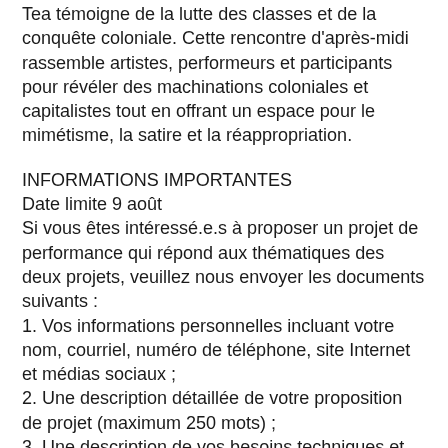Tea témoigne de la lutte des classes et de la conquête coloniale. Cette rencontre d'après-midi rassemble artistes, performeurs et participants pour révéler des machinations coloniales et capitalistes tout en offrant un espace pour le mimétisme, la satire et la réappropriation.
INFORMATIONS IMPORTANTES
Date limite 9 août
Si vous êtes intéressé.e.s à proposer un projet de performance qui répond aux thématiques des deux projets, veuillez nous envoyer les documents suivants :
1. Vos informations personnelles incluant votre nom, courriel, numéro de téléphone, site Internet et médias sociaux ;
2. Une description détaillée de votre proposition de projet (maximum 250 mots) ;
3. Une description de vos besoins techniques et d'équipements.
Les propositions rédigées en français et en anglais sont acceptées et nous accueillons des performances dans toutes autres langues.
Fait Maison, en partenariat avec AXENÉO7, offre des